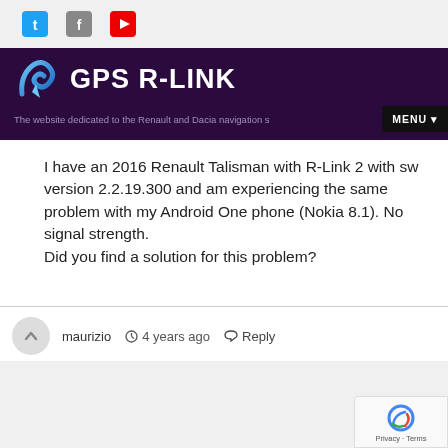GPS R-LINK — The website dedicated to the Renault and Dacia navigation s… MENU
I have an 2016 Renault Talisman with R-Link 2 with sw version 2.2.19.300 and am experiencing the same problem with my Android One phone (Nokia 8.1). No signal strength.
Did you find a solution for this problem?
maurizio  4 years ago  Reply